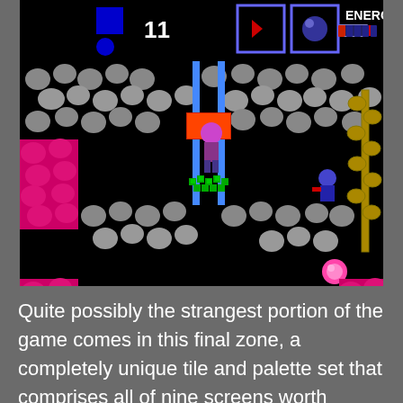[Figure (screenshot): A retro NES-style video game screenshot showing a cave/dungeon level with a character in pink/magenta outfit standing near a blue elevator/pole. The HUD shows score '11', inventory items, and an ENERGY bar at the top. The level features gray rocky platforms, red/pink colored blocks, green gem clusters, orange lava at the bottom, and a golden vine on the right side. An enemy character is visible near the right side.]
Quite possibly the strangest portion of the game comes in this final zone, a completely unique tile and palette set that comprises all of nine screens worth